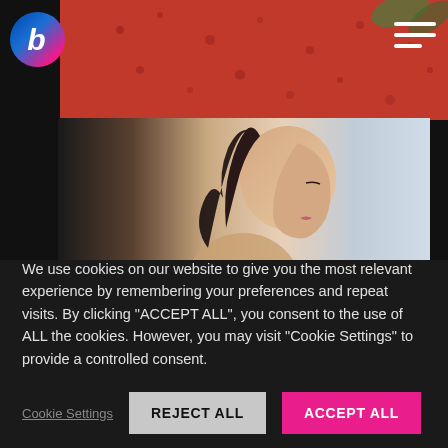[Figure (photo): Website screenshot showing a beauty/lifestyle website with a logo featuring letter 'b' in blue-pink gradient circle, hamburger menu, strawberry background image at top, and a side-profile portrait of an Asian woman with ponytail against soft background]
We use cookies on our website to give you the most relevant experience by remembering your preferences and repeat visits. By clicking "ACCEPT ALL", you consent to the use of ALL the cookies. However, you may visit "Cookie Settings" to provide a controlled consent.
Cookie Settings
REJECT ALL
ACCEPT ALL